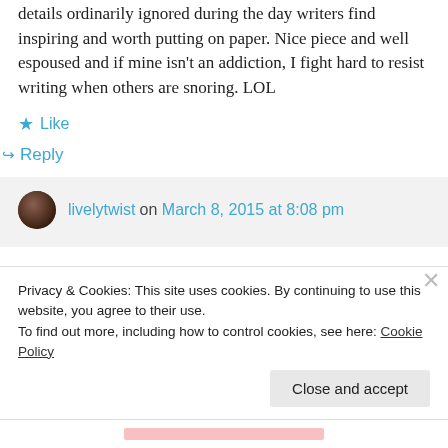details ordinarily ignored during the day writers find inspiring and worth putting on paper. Nice piece and well espoused and if mine isn't an addiction, I fight hard to resist writing when others are snoring. LOL
★ Like
↪ Reply
livelytwist on March 8, 2015 at 8:08 pm
Privacy & Cookies: This site uses cookies. By continuing to use this website, you agree to their use.
To find out more, including how to control cookies, see here: Cookie Policy